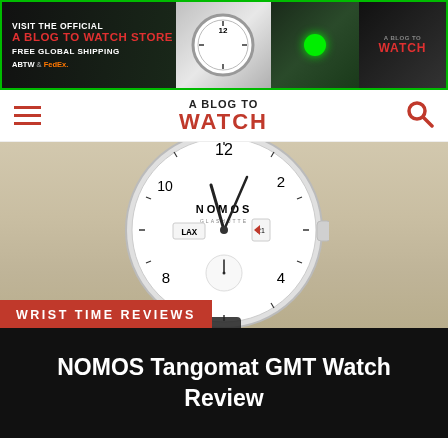[Figure (screenshot): Advertisement banner for A Blog To Watch store with text 'VISIT THE OFFICIAL A BLOG TO WATCH STORE FREE GLOBAL SHIPPING ABTW & FedEx.' with watch images and green dot graphic]
A BLOG TO WATCH
[Figure (photo): Close-up photo of NOMOS Tangomat GMT watch with white dial on a wood surface, showing numerals 12, 2, 4, 8, 10, sub-seconds dial, GMT indicator with LAX text, and date window]
WRIST TIME REVIEWS
NOMOS Tangomat GMT Watch Review